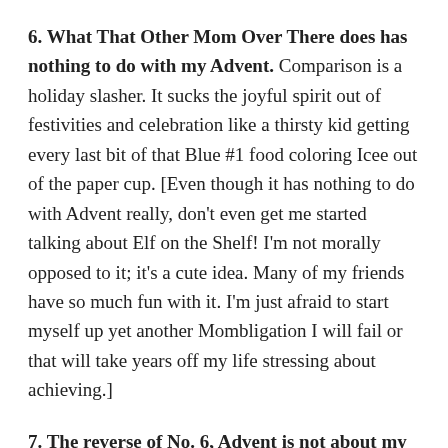6. What That Other Mom Over There does has nothing to do with my Advent. Comparison is a holiday slasher. It sucks the joyful spirit out of festivities and celebration like a thirsty kid getting every last bit of that Blue #1 food coloring Icee out of the paper cup. [Even though it has nothing to do with Advent really, don't even get me started talking about Elf on the Shelf! I'm not morally opposed to it; it's a cute idea. Many of my friends have so much fun with it. I'm just afraid to start myself up yet another Mombligation I will fail or that will take years off my life stressing about achieving.]
7. The reverse of No. 6, Advent is not about my expectations on other people. It's not about whether we were included in the neighborhood white elephant party, were invited to Aunt Nancy's for Christmas dinner,